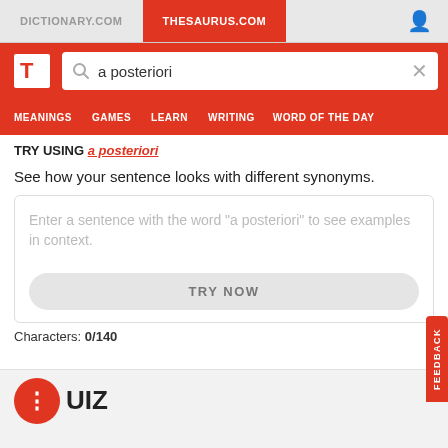DICTIONARY.COM | THESAURUS.COM
[Figure (screenshot): Search bar with text 'a posteriori' and clear button]
MEANINGS  GAMES  LEARN  WRITING  WORD OF THE DAY
TRY USING a posteriori
See how your sentence looks with different synonyms.
Enter a sentence with the word "a posteriori" to see examples in context.
TRY NOW
Characters: 0/140
QUIZ